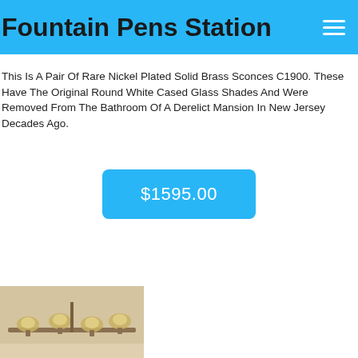Fountain Pens Station
This Is A Pair Of Rare Nickel Plated Solid Brass Sconces C1900. These Have The Original Round White Cased Glass Shades And Were Removed From The Bathroom Of A Derelict Mansion In New Jersey Decades Ago.
$1595.00
[Figure (photo): Photo of antique nickel plated solid brass sconces with round glass shades, displayed against a wall]